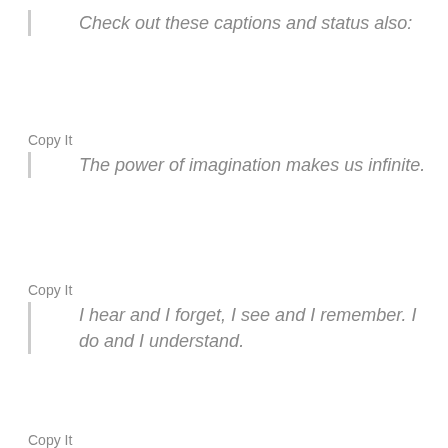Check out these captions and status also:
Copy It
The power of imagination makes us infinite.
Copy It
I hear and I forget, I see and I remember. I do and I understand.
Copy It